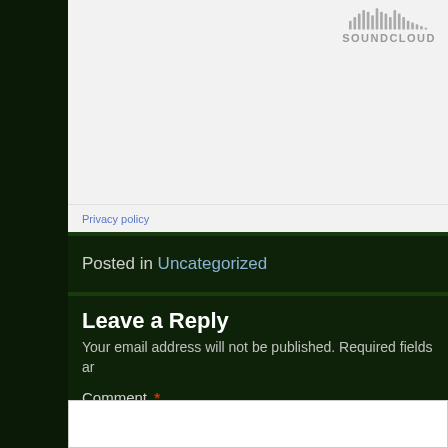[Figure (logo): SoundCloud logo with waveform icon and SOUNDCLOUD text in gray]
Privacy policy
Posted in Uncategorized
Leave a Reply
Your email address will not be published. Required fields ar
Comment *